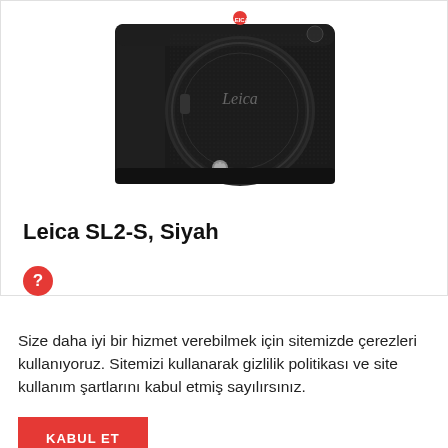[Figure (photo): Leica SL2-S camera body in black, front view with lens cap, textured grip, showing the Leica logo on the lens cap and red dot on top]
Leica SL2-S, Siyah
Size daha iyi bir hizmet verebilmek için sitemizde çerezleri kullanıyoruz. Sitemizi kullanarak gizlilik politikası ve site kullanım şartlarını kabul etmiş sayılırsınız.
KABUL ET